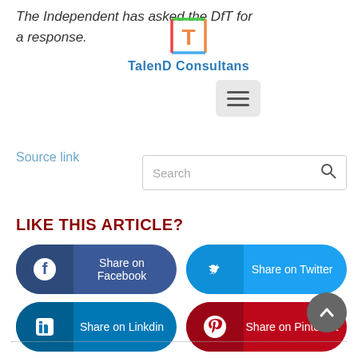The Independent has asked the DfT for a response.
[Figure (logo): TalenD Consultans logo with a stylized T icon and colorful border]
[Figure (other): Hamburger menu button (three horizontal lines)]
Source link
[Figure (other): Search input box with magnifying glass icon]
LIKE THIS ARTICLE?
Share on Facebook
Share on Twitter
Share on Linkdin
Share on Pinterest